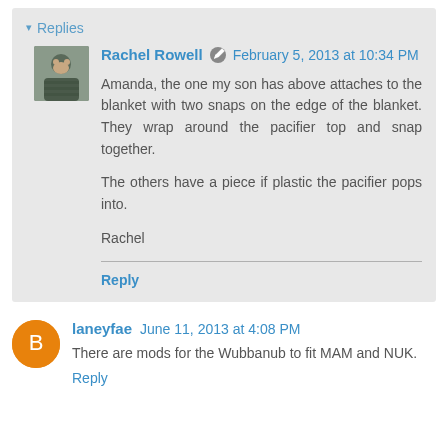▾ Replies
Rachel Rowell  February 5, 2013 at 10:34 PM
Amanda, the one my son has above attaches to the blanket with two snaps on the edge of the blanket. They wrap around the pacifier top and snap together.

The others have a piece if plastic the pacifier pops into.

Rachel
Reply
laneyfae  June 11, 2013 at 4:08 PM
There are mods for the Wubbanub to fit MAM and NUK.
Reply